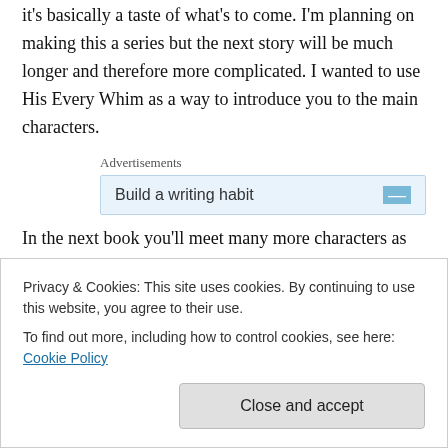it's basically a taste of what's to come. I'm planning on making this a series but the next story will be much longer and therefore more complicated. I wanted to use His Every Whim as a way to introduce you to the main characters.
Advertisements
Build a writing habit
In the next book you'll meet many more characters as well as delve deeper into Xander's life and psyche. He's been hiding a lot for a
Privacy & Cookies: This site uses cookies. By continuing to use this website, you agree to their use.
To find out more, including how to control cookies, see here: Cookie Policy
Close and accept
Wanting Him and Having Him. If you've been following